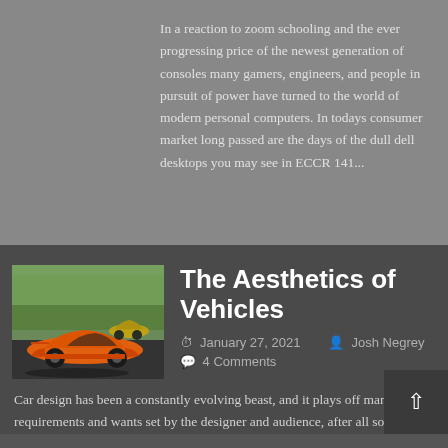In a reaction to zoom schooling and the ever progressing price of the newest generation of consoles many gamers, engineers, and people in pursuit of power have turned to the world of modern personal computers. In todays consumer market long passed are the days of the dull dell desktops you may see in ECCR 141...
[Figure (photo): Orange McLaren sports car on a road with green trees in background, another yellow car visible behind it]
The Aesthetics of Vehicles
January 27, 2021   Josh Negrey   4 Comments
Car design has been a constantly evolving beast, and it plays off many of the requirements and wants set by the designer and audience, after all some cars